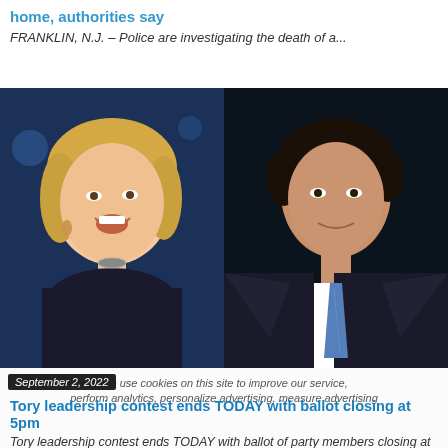home, authorities say
FRANKLIN, N.J. – Police are investigating the death of a...
[Figure (photo): Side-by-side photos of two UK political figures: a blonde woman laughing on left and a man in a suit with blue tie on right, against dark backgrounds.]
September 2, 2022
We use cookies on this site to improve our service, perform analytics, personalize advertising, measure advertising
Tory leadership contest ends TODAY with ballot closing at 5pm
Tory leadership contest ends TODAY with ballot of party members closing at 5pm; Liz Truss expected to end a weeklong campaigning